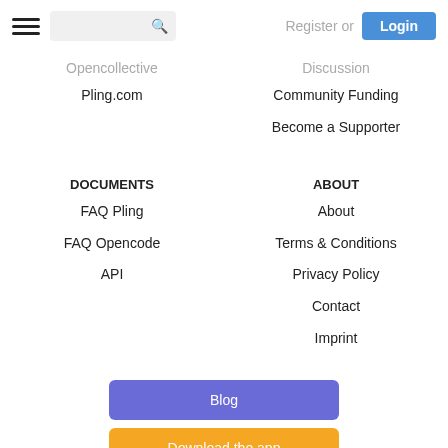Register or Login
Opencollective
Pling.com
Discussion
Community Funding
Become a Supporter
DOCUMENTS
FAQ Pling
FAQ Opencode
API
ABOUT
About
Terms & Conditions
Privacy Policy
Contact
Imprint
Blog
Download the app
Join our chat